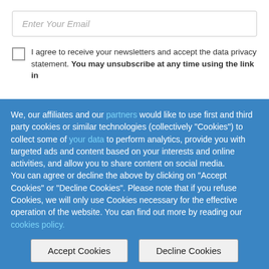Enter Your Email
I agree to receive your newsletters and accept the data privacy statement. You may unsubscribe at any time using the link in
We, our affiliates and our partners would like to use first and third party cookies or similar technologies (collectively "Cookies") to collect some of your data to perform analytics, provide you with targeted ads and content based on your interests and online activities, and allow you to share content on social media.
You can agree or decline the above by clicking on "Accept Cookies" or "Decline Cookies". Please note that if you refuse Cookies, we will only use Cookies necessary for the effective operation of the website. You can find out more by reading our cookies policy.
Accept Cookies
Decline Cookies